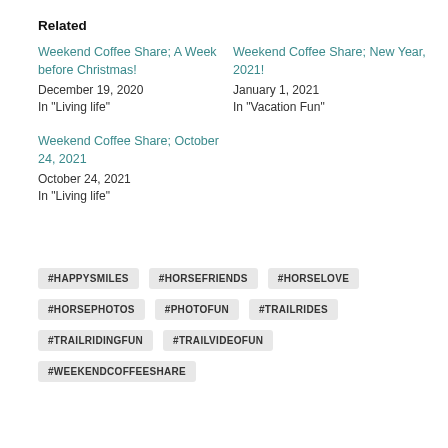Related
Weekend Coffee Share; A Week before Christmas!
December 19, 2020
In "Living life"
Weekend Coffee Share; New Year, 2021!
January 1, 2021
In "Vacation Fun"
Weekend Coffee Share; October 24, 2021
October 24, 2021
In "Living life"
#HAPPYSMILES
#HORSEFRIENDS
#HORSELOVE
#HORSEPHOTOS
#PHOTOFUN
#TRAILRIDES
#TRAILRIDINGFUN
#TRAILVIDEOFUN
#WEEKENDCOFFEESHARE